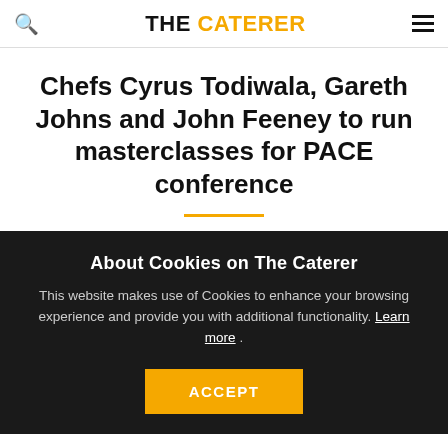THE CATERER
Chefs Cyrus Todiwala, Gareth Johns and John Feeney to run masterclasses for PACE conference
About Cookies on The Caterer
This website makes use of Cookies to enhance your browsing experience and provide you with additional functionality. Learn more .
ACCEPT